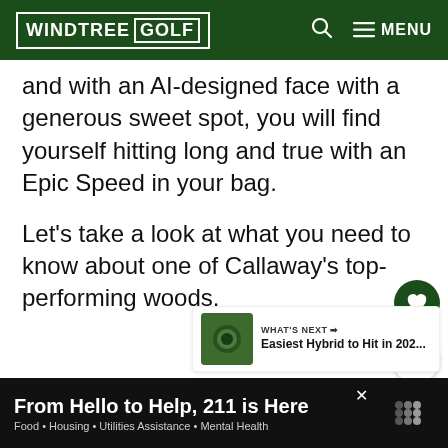WINDTREE GOLF
and with an AI-designed face with a generous sweet spot, you will find yourself hitting long and true with an Epic Speed in your bag.
Let’s take a look at what you need to know about one of Callaway’s top-performing woods.
From Hello to Help, 211 is Here
Food • Housing • Utilities Assistance • Mental Health